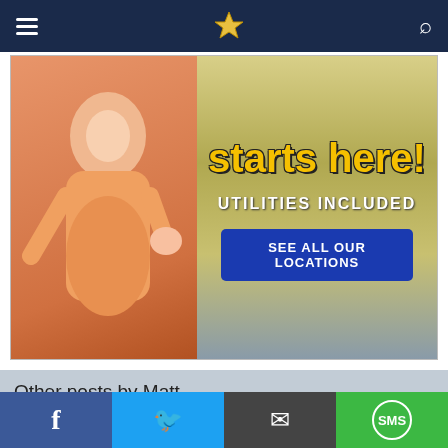Navigation bar with hamburger menu, logo, and search icon
[Figure (photo): Advertisement banner: woman in orange shirt, text 'starts here!' in yellow, 'UTILITIES INCLUDED', blue button 'SEE ALL OUR LOCATIONS']
Other posts by Matt
[Figure (photo): Photo of a classical building tower/steeple against a blue sky]
[Figure (photo): Advertisement overlay: dark luxury concept car on left, text 'All-New Luxury SUVs (Take a Look at the Prices)' with source 'Crossover SUV | Search Ads | Sponsored', close button X]
Social share bar: Facebook, Twitter, Email, SMS